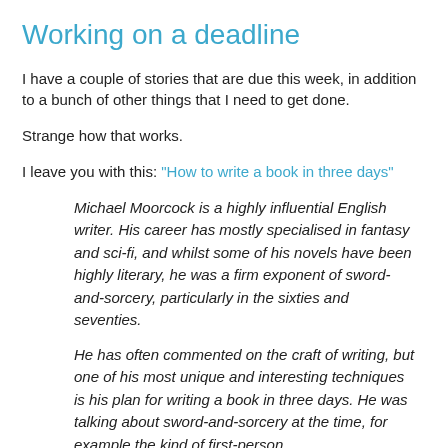Working on a deadline
I have a couple of stories that are due this week, in addition to a bunch of other things that I need to get done.
Strange how that works.
I leave you with this: "How to write a book in three days"
Michael Moorcock is a highly influential English writer. His career has mostly specialised in fantasy and sci-fi, and whilst some of his novels have been highly literary, he was a firm exponent of sword-and-sorcery, particularly in the sixties and seventies.
He has often commented on the craft of writing, but one of his most unique and interesting techniques is his plan for writing a book in three days. He was talking about sword-and-sorcery at the time, for example the kind of first-person…